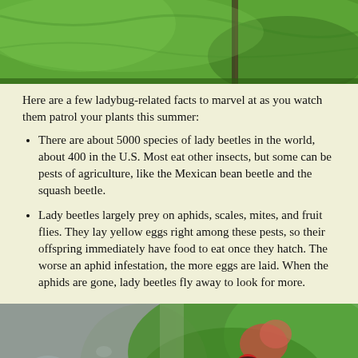[Figure (photo): Close-up photo of green plant leaves with a caterpillar or insect visible, top portion of page]
Here are a few ladybug-related facts to marvel at as you watch them patrol your plants this summer:
There are about 5000 species of lady beetles in the world, about 400 in the U.S. Most eat other insects, but some can be pests of agriculture, like the Mexican bean beetle and the squash beetle.
Lady beetles largely prey on aphids, scales, mites, and fruit flies. They lay yellow eggs right among these pests, so their offspring immediately have food to eat once they hatch. The worse an aphid infestation, the more eggs are laid. When the aphids are gone, lady beetles fly away to look for more.
[Figure (photo): Close-up macro photo of green plant with ladybug visible, bottom portion of page]